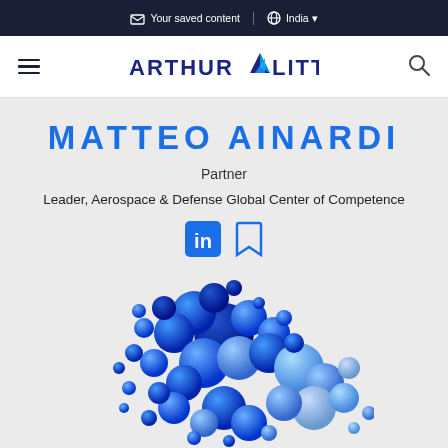Your saved content | India
[Figure (logo): Arthur D. Little logo with stylized blue diamond icon and text ARTHUR LITTLE in bold dark blue uppercase]
MATTEO AINARDI
Partner
Leader, Aerospace & Defense Global Center of Competence
[Figure (illustration): 3D cluster of spheres in various shades of blue, floating in abstract cloud formation]